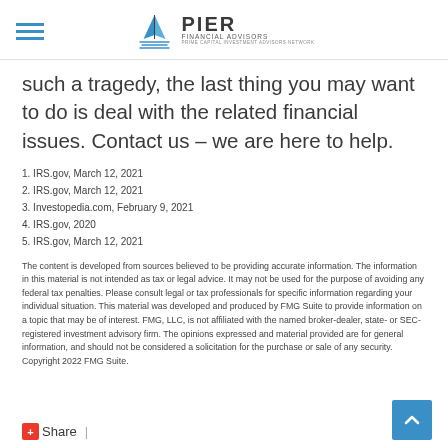PIER FINANCIAL ADVISORS
such a tragedy, the last thing you may want to do is deal with the related financial issues. Contact us – we are here to help.
1. IRS.gov, March 12, 2021
2. IRS.gov, March 12, 2021
3. Investopedia.com, February 9, 2021
4. IRS.gov, 2020
5. IRS.gov, March 12, 2021
The content is developed from sources believed to be providing accurate information. The information in this material is not intended as tax or legal advice. It may not be used for the purpose of avoiding any federal tax penalties. Please consult legal or tax professionals for specific information regarding your individual situation. This material was developed and produced by FMG Suite to provide information on a topic that may be of interest. FMG, LLC, is not affiliated with the named broker-dealer, state- or SEC-registered investment advisory firm. The opinions expressed and material provided are for general information, and should not be considered a solicitation for the purchase or sale of any security. Copyright 2022 FMG Suite.
Share |